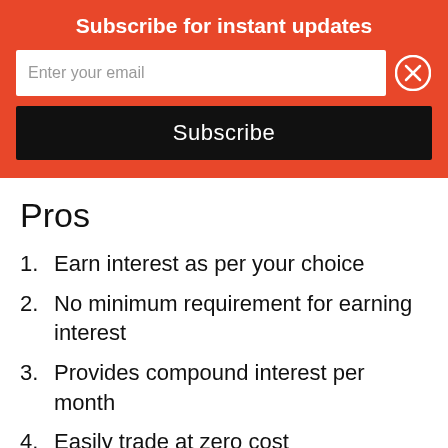Subscribe for instant updates
[Figure (screenshot): Email subscription form with input field showing 'Enter your email', a close (X) button, and a black Subscribe button]
Pros
Earn interest as per your choice
No minimum requirement for earning interest
Provides compound interest per month
Easily trade at zero cost
between different